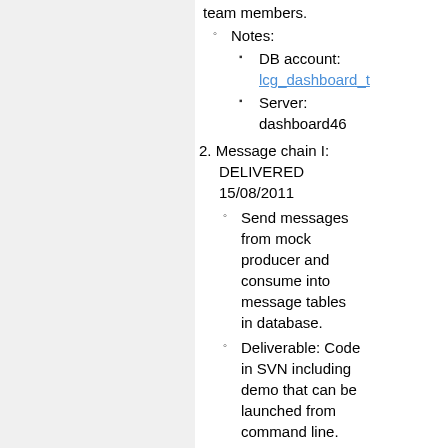team members.
Notes:
DB account: lcg_dashboard_t...
Server: dashboard46
2. Message chain I: DELIVERED 15/08/2011
Send messages from mock producer and consume into message tables in database.
Deliverable: Code in SVN including demo that can be launched from command line.
3. Message chain II: